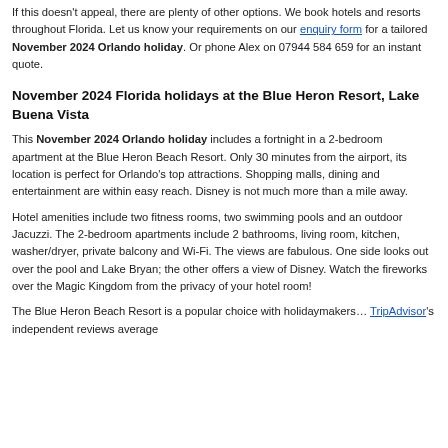If this doesn't appeal, there are plenty of other options. We book hotels and resorts throughout Florida. Let us know your requirements on our enquiry form for a tailored November 2024 Orlando holiday. Or phone Alex on 07944 584 659 for an instant quote.
November 2024 Florida holidays at the Blue Heron Resort, Lake Buena Vista
This November 2024 Orlando holiday includes a fortnight in a 2-bedroom apartment at the Blue Heron Beach Resort. Only 30 minutes from the airport, its location is perfect for Orlando's top attractions. Shopping malls, dining and entertainment are within easy reach. Disney is not much more than a mile away.
Hotel amenities include two fitness rooms, two swimming pools and an outdoor Jacuzzi. The 2-bedroom apartments include 2 bathrooms, living room, kitchen, washer/dryer, private balcony and Wi-Fi. The views are fabulous. One side looks out over the pool and Lake Bryan; the other offers a view of Disney. Watch the fireworks over the Magic Kingdom from the privacy of your hotel room!
The Blue Heron Beach Resort is a popular choice with holidaymakers… TripAdvisor's independent reviews average